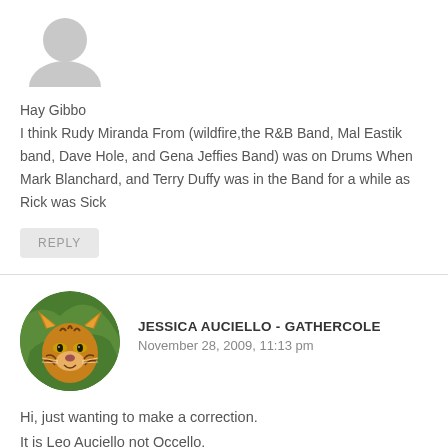[Figure (illustration): Gray placeholder avatar silhouette (person icon), partially visible at top]
Hay Gibbo
I think Rudy Miranda From (wildfire,the R&B Band, Mal Eastik band, Dave Hole, and Gena Jeffies Band) was on Drums When Mark Blanchard, and Terry Duffy was in the Band for a while as Rick was Sick
REPLY
[Figure (photo): Circular avatar photo of a tiger face with green foliage background]
JESSICA AUCIELLO - GATHERCOLE
November 28, 2009, 11:13 pm
Hi, just wanting to make a correction.
It is Leo Auciello not Occello.